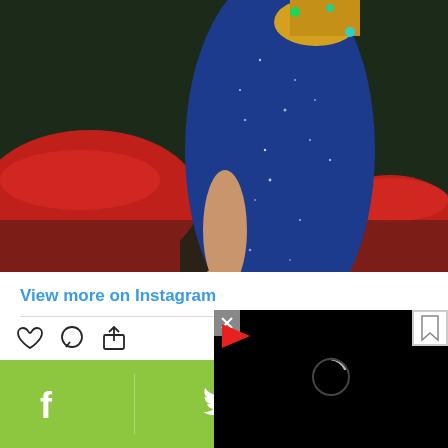[Figure (photo): Woman in a sparkly blue dress, back view, with red rounded furniture and green foliage in background]
View more on Instagram
212,092 likes
Add a comment...
[Figure (screenshot): Black video player overlay with red play icon and loading spinner, with close button (x) and bookmark icon]
[Figure (screenshot): Green social sharing bar at bottom with Facebook, Twitter, and WhatsApp icons]